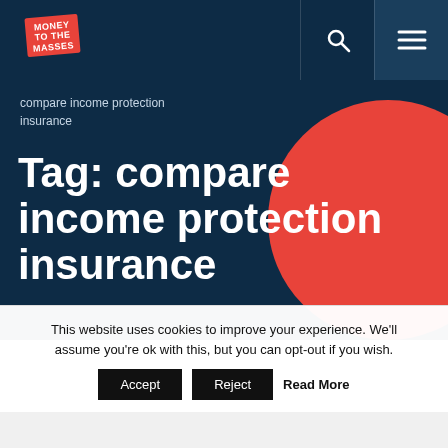Money to the Masses
compare income protection insurance
Tag: compare income protection insurance
[Figure (photo): Partial photo showing blurred blue and white objects, likely medical or insurance related items]
This website uses cookies to improve your experience. We'll assume you're ok with this, but you can opt-out if you wish.
Accept  Reject  Read More